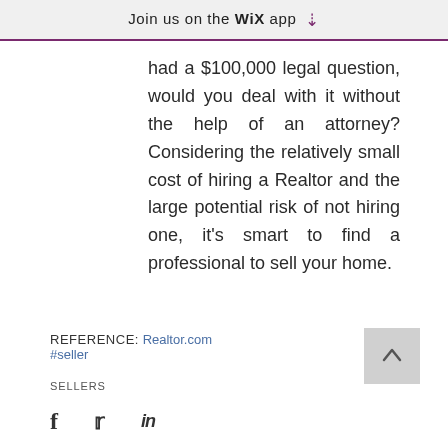Join us on the WiX app
had a $100,000 legal question, would you deal with it without the help of an attorney? Considering the relatively small cost of hiring a Realtor and the large potential risk of not hiring one, it's smart to find a professional to sell your home.
REFERENCE: Realtor.com #seller
SELLERS